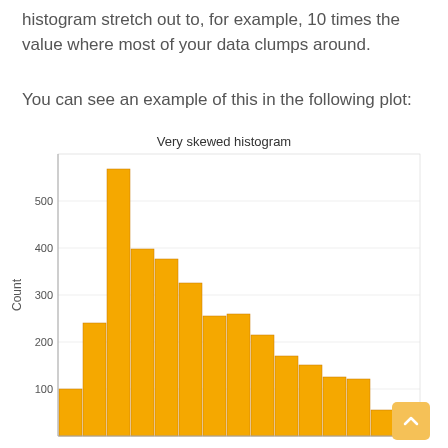histogram stretch out to, for example, 10 times the value where most of your data clumps around.
You can see an example of this in the following plot:
[Figure (histogram): Very skewed histogram]